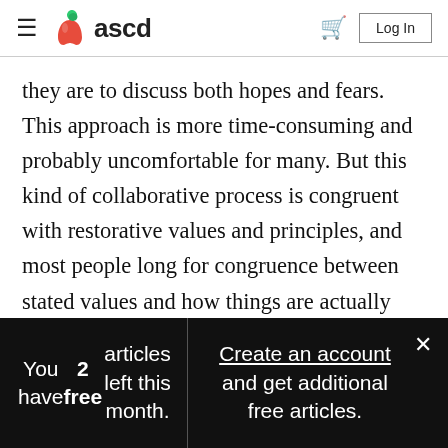ASCD — hamburger menu, logo, cart, Log In
they are to discuss both hopes and fears. This approach is more time-consuming and probably uncomfortable for many. But this kind of collaborative process is congruent with restorative values and principles, and most people long for congruence between stated values and how things are actually done. Additionally, such a collaborative process often identifies those who are excited and invested in
You have 2 free articles left this month.
Create an account and get additional free articles.